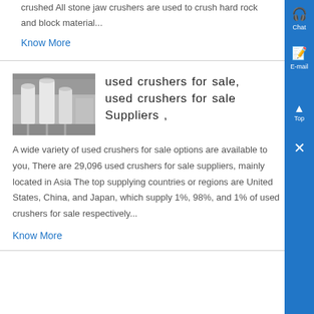crushed All stone jaw crushers are used to crush hard rock and block material...
Know More
[Figure (photo): Industrial silos/crushers equipment photo in grayscale]
used crushers for sale, used crushers for sale Suppliers ,
A wide variety of used crushers for sale options are available to you, There are 29,096 used crushers for sale suppliers, mainly located in Asia The top supplying countries or regions are United States, China, and Japan, which supply 1%, 98%, and 1% of used crushers for sale respectively...
Know More